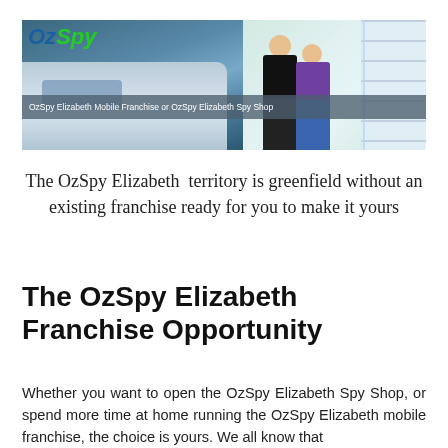[Figure (photo): Banner image showing two photos side by side: left side shows an OzSpy security solutions van with logo, right side shows two people in a spy shop with shelves. A caption bar reads 'OzSpy Elizabeth Mobile Franchise or OzSpy Elizabeth Spy Shop'.]
The OzSpy Elizabeth  territory is greenfield without an existing franchise ready for you to make it yours
The OzSpy Elizabeth Franchise Opportunity
Whether you want to open the OzSpy Elizabeth Spy Shop, or spend more time at home running the OzSpy Elizabeth mobile franchise, the choice is yours. We all know that